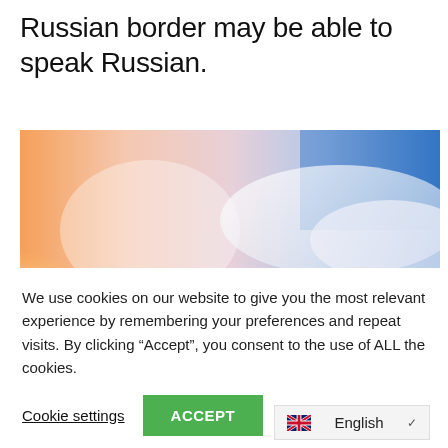Russian border may be able to speak Russian.
[Figure (photo): Blurred outdoor photo showing a sunset or sunrise sky with warm orange and pink tones on the left transitioning to blue sky with clouds on the right, with snow or white landscape in the foreground.]
We use cookies on our website to give you the most relevant experience by remembering your preferences and repeat visits. By clicking “Accept”, you consent to the use of ALL the cookies.
Cookie settings
ACCEPT
English